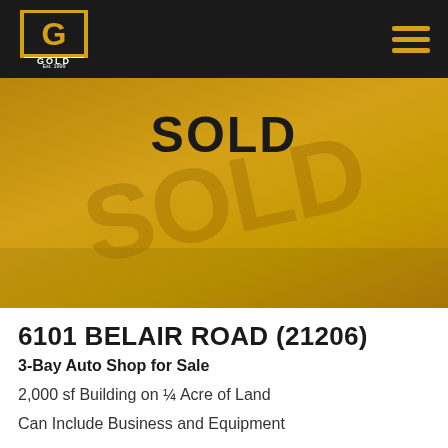[Figure (logo): Gold commercial real estate company logo with G emblem and 'GOLD Est. 1999' text on black background header bar]
[Figure (photo): Property photo with golden/yellow overlay showing a parking lot or auto shop area, with large 'SOLD' text overlay watermark and bold black 'SOLD' headline]
6101 BELAIR ROAD (21206)
3-Bay Auto Shop for Sale
2,000 sf Building on ¼ Acre of Land
Can Include Business and Equipment